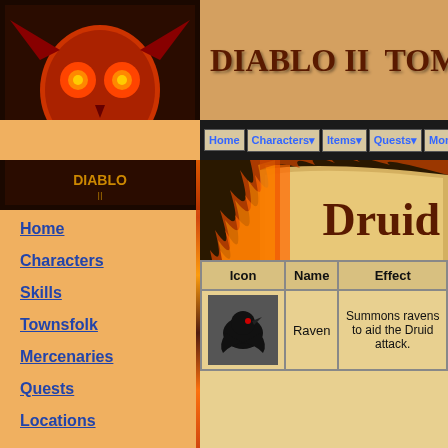DIABLO II  TOMB OF K
Home | Characters | Items | Quests | Monsters | Misc
[Figure (screenshot): Diablo II game box cover art showing a skull with glowing red eyes against a dark red background]
[Figure (illustration): Druid Summoning skills page banner with fire border effect showing 'Druid Summoning' text on parchment background]
Home
Characters
Skills
Townsfolk
Mercenaries
Quests
Locations
Skills Index | Elemental Skills | Shape Shifting Skills
| Icon | Name | Effect |
| --- | --- | --- |
| [raven icon] | Raven | Summons ravens to aid the Druid attack. |